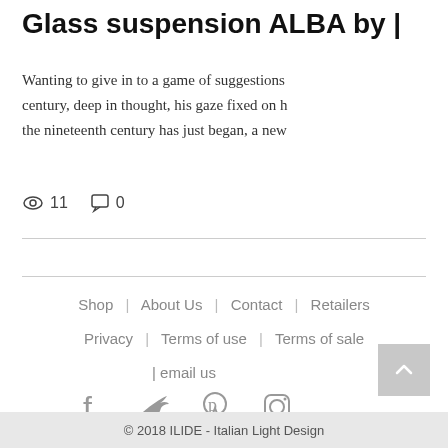Glass suspension ALBA by
Wanting to give in to a game of suggestions century, deep in thought, his gaze fixed on h the nineteenth century has just began, a new
👁 11   💬 0
Shop  |  About Us  |  Contact  |  Retailers
Privacy  |  Terms of use  |  Terms of sale
| email us
[Figure (illustration): Back to top button with upward caret arrow, light gray background]
[Figure (illustration): Social media icons row: Facebook, Twitter, Pinterest, Instagram — all in gray]
© 2018 ILIDE - Italian Light Design